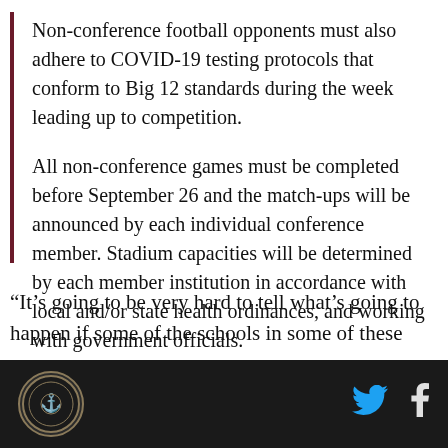Non-conference football opponents must also adhere to COVID-19 testing protocols that conform to Big 12 standards during the week leading up to competition.
All non-conference games must be completed before September 26 and the match-ups will be announced by each individual conference member. Stadium capacities will be determined by each member institution in accordance with local and/or state health ordinances, and working with government officials.
“It’s going to be very hard to tell what’s going to happen if some of the schools in some of these
[Figure (logo): Circular logo with ornate design on dark background in footer]